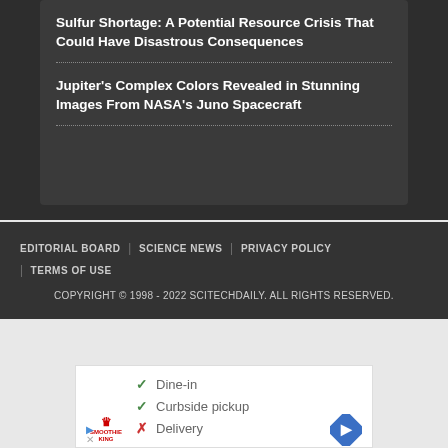Sulfur Shortage: A Potential Resource Crisis That Could Have Disastrous Consequences
Jupiter's Complex Colors Revealed in Stunning Images From NASA's Juno Spacecraft
EDITORIAL BOARD | SCIENCE NEWS | PRIVACY POLICY | TERMS OF USE
COPYRIGHT © 1998 - 2022 SCITECHDAILY. ALL RIGHTS RESERVED.
[Figure (screenshot): Advertisement showing Smoothie King restaurant options: Dine-in (checkmark), Curbside pickup (checkmark), Delivery (X). Blue navigation arrow icon on right.]